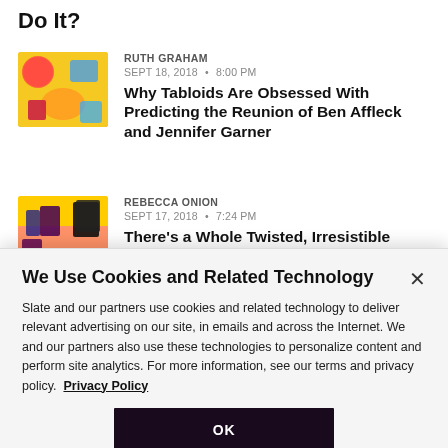Do It?
RUTH GRAHAM
SEPT 18, 2018 • 8:00 PM
Why Tabloids Are Obsessed With Predicting the Reunion of Ben Affleck and Jennifer Garner
REBECCA ONION
SEPT 17, 2018 • 7:24 PM
There's a Whole Twisted, Irresistible
We Use Cookies and Related Technology
Slate and our partners use cookies and related technology to deliver relevant advertising on our site, in emails and across the Internet. We and our partners also use these technologies to personalize content and perform site analytics. For more information, see our terms and privacy policy.  Privacy Policy
OK